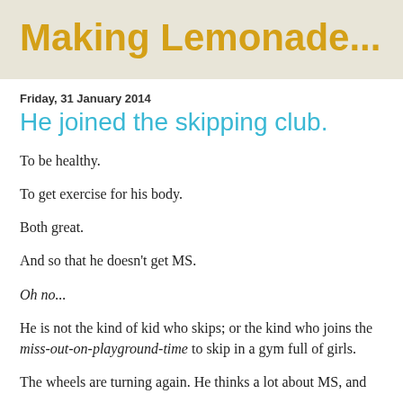Making Lemonade...
Friday, 31 January 2014
He joined the skipping club.
To be healthy.
To get exercise for his body.
Both great.
And so that he doesn't get MS.
Oh no...
He is not the kind of kid who skips; or the kind who joins the miss-out-on-playground-time to skip in a gym full of girls.
The wheels are turning again. He thinks a lot about MS, and